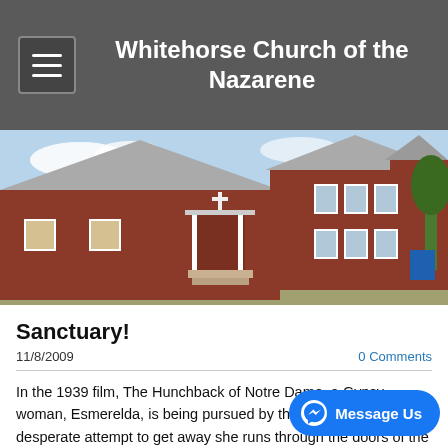Whitehorse Church of the Nazarene
[Figure (photo): Exterior photograph of the Whitehorse Church of the Nazarene building — a large red-brown wooden church with grey roof, white porch columns, and surrounding trees under a partly cloudy sky.]
Sanctuary!
11/8/2009    0 Comments
In the 1939 film, The Hunchback of Notre Dame, a Gypsy woman, Esmerelda, is being pursued by the authorities. In her desperate attempt to get away she runs through the doors of the cathedral. When the pursuers are about to go in after her one of the priests stops them claiming “sanctuary”. Out in the city Esmerelda was vulnerable, but the moment she crossed through the doors of the church she was safe. The sanctuary became a place of refuge for her; a place away from danger; a place where she would hope to find